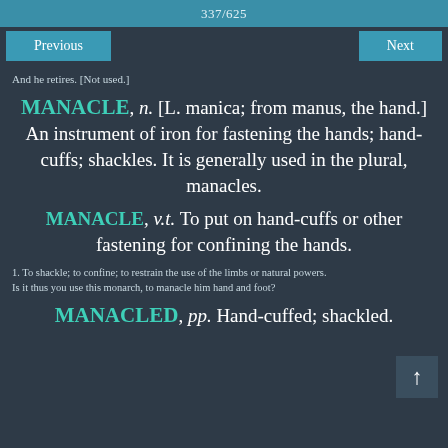337/625
Previous   Next
And he retires. [Not used.]
MANACLE, n. [L. manica; from manus, the hand.] An instrument of iron for fastening the hands; hand-cuffs; shackles. It is generally used in the plural, manacles.
MANACLE, v.t. To put on hand-cuffs or other fastening for confining the hands.
1. To shackle; to confine; to restrain the use of the limbs or natural powers.
Is it thus you use this monarch, to manacle him hand and foot?
MANACLED, pp. Hand-cuffed; shackled.